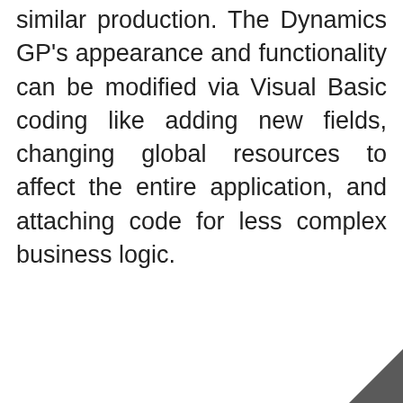similar production. The Dynamics GP's appearance and functionality can be modified via Visual Basic coding like adding new fields, changing global resources to affect the entire application, and attaching code for less complex business logic.
[Figure (other): Dark grey triangular arrow shape in bottom-right corner]